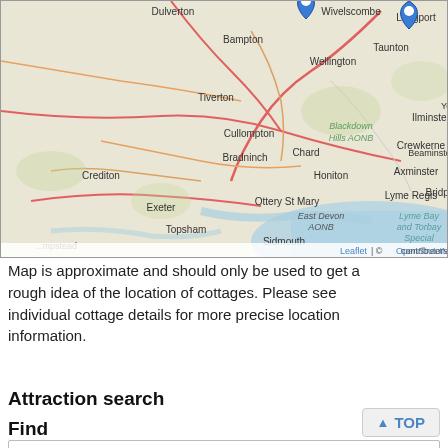[Figure (map): Interactive map showing part of Devon and Somerset, England. Blue map pin markers visible near Wiveliscombe/Wellington area and near Taunton. Map shows towns including Dulverton, Bampton, Wellington, Taunton, Langport, Tiverton, Blackdown Hills AONB, Ilminster, Chard, Crewkerne, Cullompton, Bradninch, Honiton, Axminster, Beaminster, Crediton, Ottery St Mary, East Devon AONB, Lyme Regis, Lyme Bay and Torbay Special, Exeter, Topsham, Sidmouth, Bridport. Map credit: Leaflet | © OpenStreetMap contributors.]
Map is approximate and should only be used to get a rough idea of the location of cottages. Please see individual cottage details for more precise location information.
Attraction search
Find